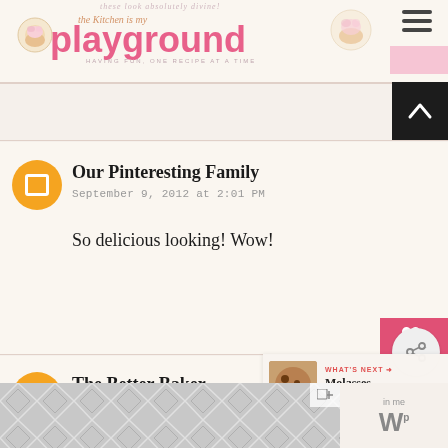The Kitchen is my Playground — HAVING FUN, ONE RECIPE AT A TIME
Our Pinteresting Family
September 9, 2012 at 2:01 PM
So delicious looking! Wow!
The Better Baker
September 9, 2012 at 10:20 PM
Perfect! I'm a cookie monster anyway...and
[Figure (other): Advertisement banner with geometric hexagon/chevron pattern in gray tones at page bottom]